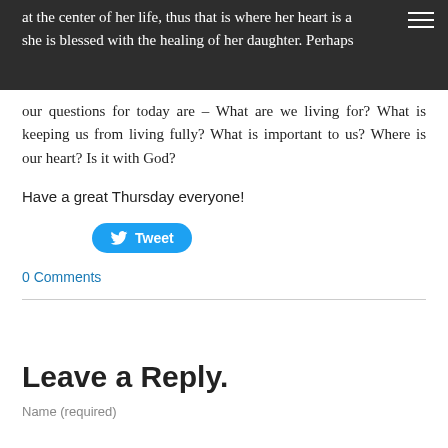at the center of her life, thus that is where her heart is and she is blessed with the healing of her daughter. Perhaps our questions for today are – What are we living for? What is keeping us from living fully? What is important to us? Where is our heart? Is it with God?
Have a great Thursday everyone!
[Figure (other): Tweet button with Twitter bird logo]
0 Comments
Leave a Reply.
Name (required)